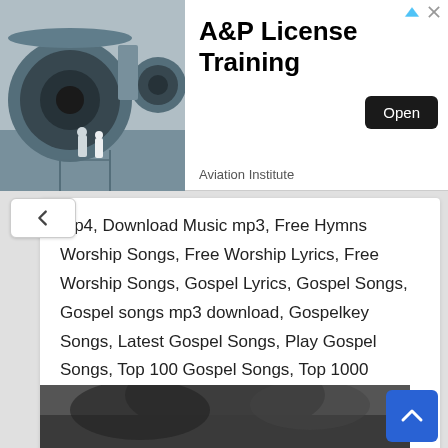[Figure (photo): Advertisement banner showing airplane jet engines with two technicians. Ad for A&P License Training from Aviation Institute with an Open button.]
mp4, Download Music mp3, Free Hymns Worship Songs, Free Worship Lyrics, Free Worship Songs, Gospel Lyrics, Gospel Songs, Gospel songs mp3 download, Gospelkey Songs, Latest Gospel Songs, Play Gospel Songs, Top 100 Gospel Songs, Top 1000 Gospel Songs, Trending Gospel Songs, Worship Songs Download
[Figure (photo): Partial bottom image showing a dark blurry background.]